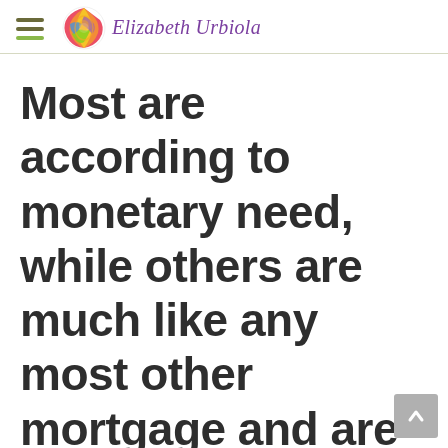Elizabeth Urbiola
Most are according to monetary need, while others are much like any most other mortgage and are generally established